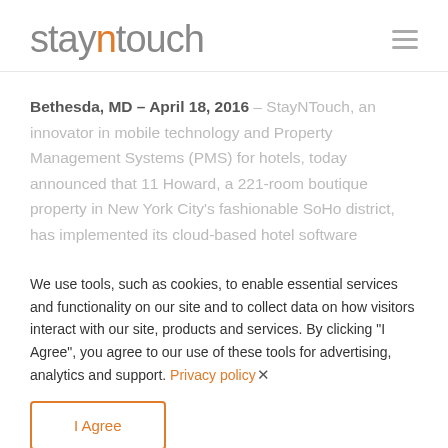stayntouch
Bethesda, MD – April 18, 2016 – StayNTouch, an innovator in mobile technology and Property Management Systems (PMS) for hotels, today announced that 11 Howard, a 221-room boutique property in New York City's fashionable SoHo district, has implemented its cloud-based hotel software
We use tools, such as cookies, to enable essential services and functionality on our site and to collect data on how visitors interact with our site, products and services. By clicking "I Agree", you agree to our use of these tools for advertising, analytics and support. Privacy policy
I Agree